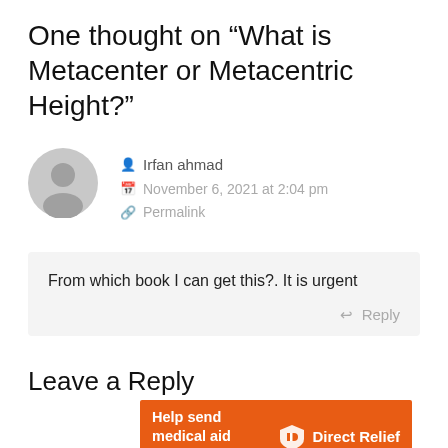One thought on “What is Metacenter or Metacentric Height?”
Irfan ahmad
November 6, 2021 at 2:04 pm
Permalink
From which book I can get this?. It is urgent
Reply
Leave a Reply
[Figure (infographic): Orange advertisement banner: Help send medical aid to Ukraine >> Direct Relief logo]